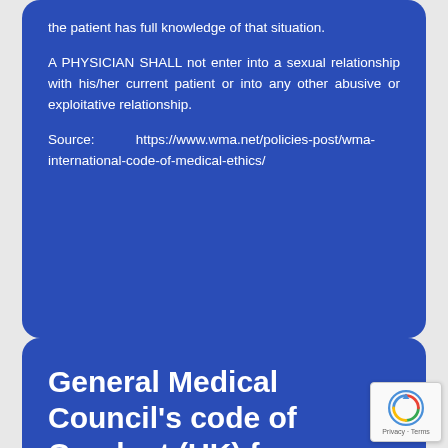the patient has full knowledge of that situation.
A PHYSICIAN SHALL not enter into a sexual relationship with his/her current patient or into any other abusive or exploitative relationship.
Source: https://www.wma.net/policies-post/wma-international-code-of-medical-ethics/
General Medical Council's code of Conduct (UK) for registered doctors